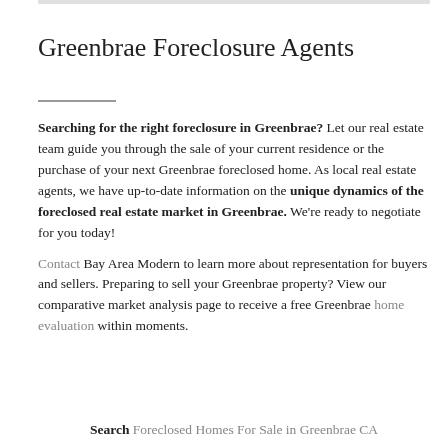Greenbrae Foreclosure Agents
Searching for the right foreclosure in Greenbrae? Let our real estate team guide you through the sale of your current residence or the purchase of your next Greenbrae foreclosed home. As local real estate agents, we have up-to-date information on the unique dynamics of the foreclosed real estate market in Greenbrae. We're ready to negotiate for you today!
Contact Bay Area Modern to learn more about representation for buyers and sellers. Preparing to sell your Greenbrae property? View our comparative market analysis page to receive a free Greenbrae home evaluation within moments.
Search Foreclosed Homes For Sale in Greenbrae CA